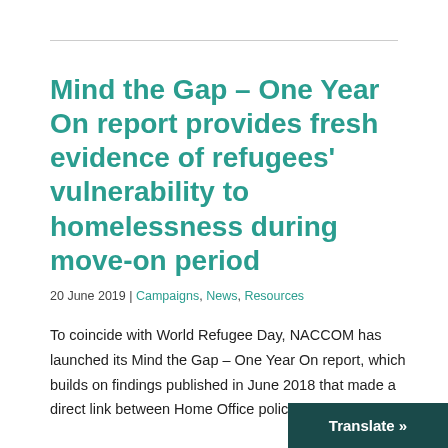Mind the Gap – One Year On report provides fresh evidence of refugees' vulnerability to homelessness during move-on period
20 June 2019 | Campaigns, News, Resources
To coincide with World Refugee Day, NACCOM has launched its Mind the Gap – One Year On report, which builds on findings published in June 2018 that made a direct link between Home Office policy [...]